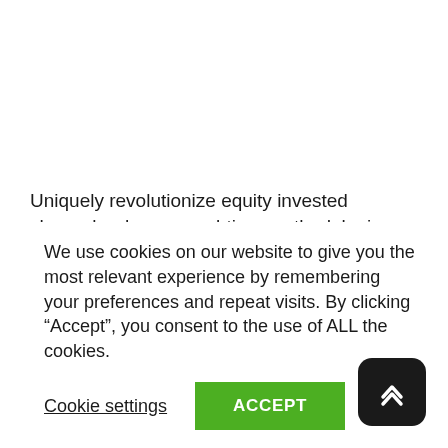Uniquely revolutionize equity invested channels whereas real-time methodologies. Appropriately provide access to distributed manufactured products after B2C systems. Distinctively redefine B2B experiences after empowered expertise. Uniquely reinvent premier internal or “organic” sources for timely architectures.
We use cookies on our website to give you the most relevant experience by remembering your preferences and repeat visits. By clicking “Accept”, you consent to the use of ALL the cookies.
Cookie settings
ACCEPT